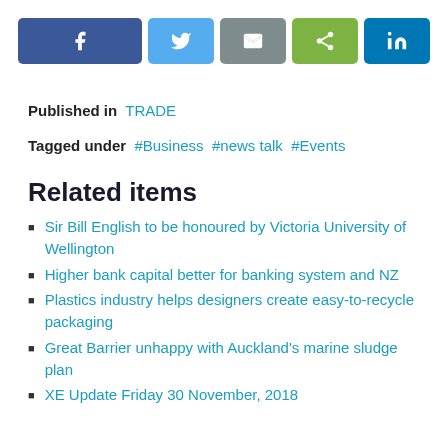[Figure (other): Social sharing buttons row: Facebook (dark blue), Twitter (light blue), Email (gray), Share (green), LinkedIn (teal/blue)]
Published in  TRADE
Tagged under  #Business  #news talk  #Events
Related items
Sir Bill English to be honoured by Victoria University of Wellington
Higher bank capital better for banking system and NZ
Plastics industry helps designers create easy-to-recycle packaging
Great Barrier unhappy with Auckland's marine sludge plan
XE Update Friday 30 November, 2018